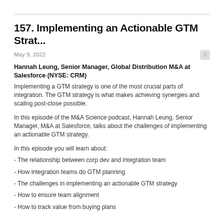157. Implementing an Actionable GTM Strat...
May 9, 2022
Hannah Leung, Senior Manager, Global Distribution M&A at Salesforce (NYSE: CRM)
Implementing a GTM strategy is one of the most crucial parts of integration. The GTM strategy is what makes achieving synergies and scaling post-close possible.
In this episode of the M&A Science podcast, Hannah Leung, Senior Manager, M&A at Salesforce, talks about the challenges of implementing an actionable GTM strategy.
In this episode you will learn about:
- The relationship between corp dev and integration team
- How integration teams do GTM planning
- The challenges in implementing an actionable GTM strategy
- How to ensure team alignment
- How to track value from buying plans